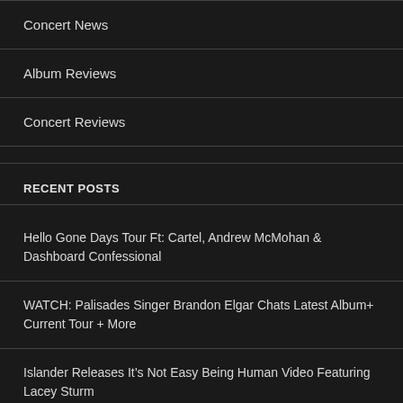Concert News
Album Reviews
Concert Reviews
RECENT POSTS
Hello Gone Days Tour Ft: Cartel, Andrew McMohan & Dashboard Confessional
WATCH: Palisades Singer Brandon Elgar Chats Latest Album+ Current Tour + More
Islander Releases It's Not Easy Being Human Video Featuring Lacey Sturm
Bad Omens Announce A Tour of the Concrete Jungle North American